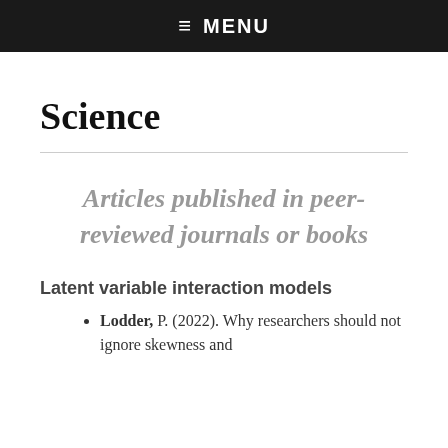≡ MENU
Science
Articles published in peer-reviewed journals or books
Latent variable interaction models
Lodder, P. (2022). Why researchers should not ignore skewness and